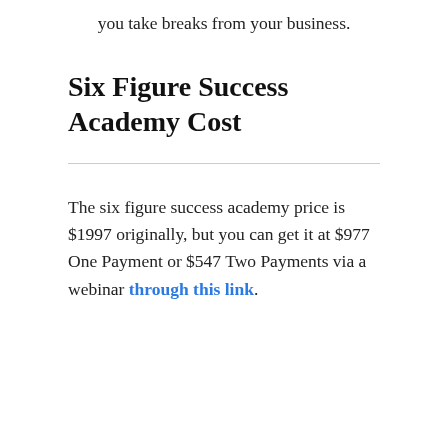you take breaks from your business.
Six Figure Success Academy Cost
The six figure success academy price is $1997 originally, but you can get it at $977 One Payment or $547 Two Payments via a webinar through this link.